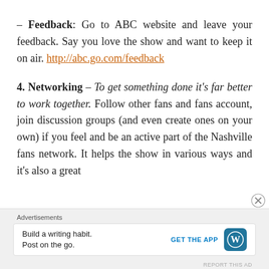– Feedback: Go to ABC website and leave your feedback. Say you love the show and want to keep it on air. http://abc.go.com/feedback
4. Networking – To get something done it's far better to work together. Follow other fans and fans account, join discussion groups (and even create ones on your own) if you feel and be an active part of the Nashville fans network. It helps the show in various ways and it's also a great
Advertisements
Build a writing habit. Post on the go.
GET THE APP